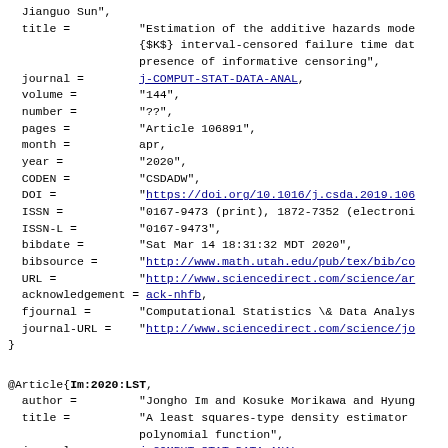Jianguo Sun",
  title =          "Estimation of the additive hazards model
                   {$K$} interval-censored failure time data
                   presence of informative censoring",
  journal =        j-COMPUT-STAT-DATA-ANAL,
  volume =         "144",
  number =         "??",
  pages =          "Article 106891",
  month =          apr,
  year =           "2020",
  CODEN =          "CSDADW",
  DOI =            "https://doi.org/10.1016/j.csda.2019.106
  ISSN =           "0167-9473 (print), 1872-7352 (electroni
  ISSN-L =         "0167-9473",
  bibdate =        "Sat Mar 14 18:31:32 MDT 2020",
  bibsource =      "http://www.math.utah.edu/pub/tex/bib/co
  URL =            "http://www.sciencedirect.com/science/ar
  acknowledgement = ack-nhfb,
  fjournal =       "Computational Statistics \& Data Analys
  journal-URL =    "http://www.sciencedirect.com/science/jo
}
@Article{Im:2020:LST,
  author =         "Jongho Im and Kosuke Morikawa and Hyung
  title =          "A least squares-type density estimator
                   polynomial function",
  journal =        j-COMPUT-STAT-DATA-ANAL,
  volume =         "144",
  number =         "??",
  pages =          "Article 106882",
  month =          apr,